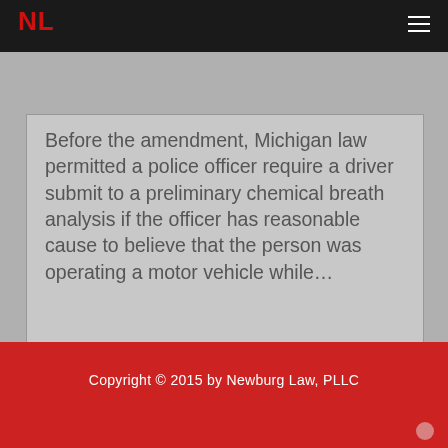NL
Before the amendment, Michigan law permitted a police officer require a driver submit to a preliminary chemical breath analysis if the officer has reasonable cause to believe that the person was operating a motor vehicle while...
Copyright © 2015 by Newburg Law, PLLC